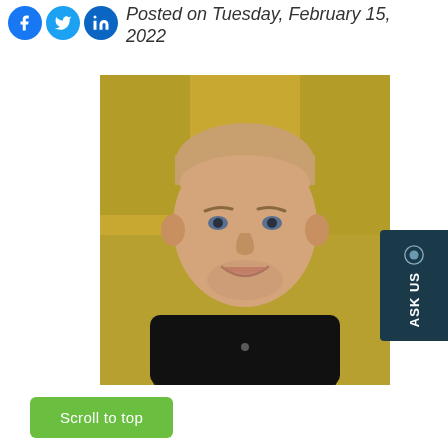Posted on Tuesday, February 15, 2022
[Figure (photo): Headshot photo of a smiling man with short light brown hair wearing a dark v-neck sweater over a gray collared shirt, against a warm yellow/gold background.]
Scroll to top